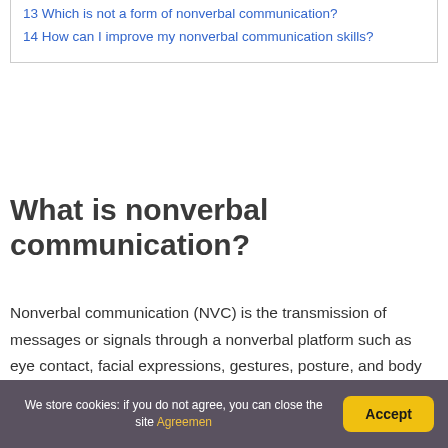13 Which is not a form of nonverbal communication?
14 How can I improve my nonverbal communication skills?
What is nonverbal communication?
Nonverbal communication (NVC) is the transmission of messages or signals through a nonverbal platform such as eye contact, facial expressions, gestures, posture, and body language. For the first time, nonverbal communication was studied and its relevance questioned.
We store cookies: if you do not agree, you can close the site Agreemen Accept